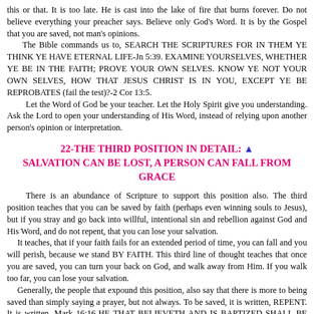this or that. It is too late. He is cast into the lake of fire that burns forever. Do not believe everything your preacher says. Believe only God's Word. It is by the Gospel that you are saved, not man's opinions.
  The Bible commands us to, SEARCH THE SCRIPTURES FOR IN THEM YE THINK YE HAVE ETERNAL LIFE-Jn 5:39. EXAMINE YOURSELVES, WHETHER YE BE IN THE FAITH; PROVE YOUR OWN SELVES. KNOW YE NOT YOUR OWN SELVES, HOW THAT JESUS CHRIST IS IN YOU, EXCEPT YE BE REPROBATES (fail the test)?-2 Cor 13:5.
  Let the Word of God be your teacher. Let the Holy Spirit give you understanding. Ask the Lord to open your understanding of His Word, instead of relying upon another person's opinion or interpretation.
22-THE THIRD POSITION IN DETAIL: ▲ SALVATION CAN BE LOST, A PERSON CAN FALL FROM GRACE
There is an abundance of Scripture to support this position also. The third position teaches that you can be saved by faith (perhaps even winning souls to Jesus), but if you stray and go back into willful, intentional sin and rebellion against God and His Word, and do not repent, that you can lose your salvation.
  It teaches, that if your faith fails for an extended period of time, you can fall and you will perish, because we stand BY FAITH. This third line of thought teaches that once you are saved, you can turn your back on God, and walk away from Him. If you walk too far, you can lose your salvation.
  Generally, the people that expound this position, also say that there is more to being saved than simply saying a prayer, but not always. To be saved, it is written, REPENT. It is written, Mark 16:16-HE THAT BELIEVETH AND IS BAPTIZED SHALL BE SAVED; BUT HE THAT BELIEVETH NOT SHALL BE DAMNED.